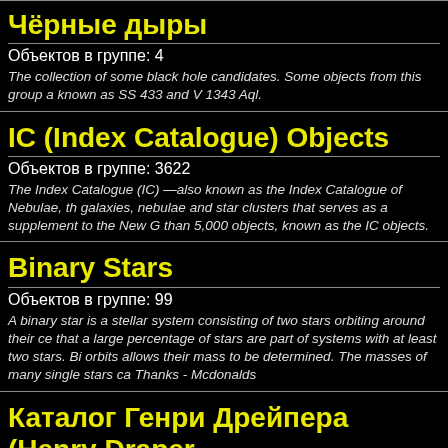Чёрные дыры
Объектов в группе: 4
The collection of some black hole candidates. Some objects from this group are known as SS 433 and V 1343 Aql.
IC (Index Catalogue) Objects
Объектов в группе: 3622
The Index Catalogue (IC) —also known as the Index Catalogue of Nebulae, the galaxies, nebulae and star clusters that serves as a supplement to the New G... than 5,000 objects, known as the IC objects.
Binary Stars
Объектов в группе: 99
A binary star is a stellar system consisting of two stars orbiting around their ce... that a large percentage of stars are part of systems with at least two stars. Bi... orbits allows their mass to be determined. The masses of many single stars ca... Thanks - Mcdonalds
Каталог Генри Дрейпера (Henry Draper
Объектов в группе: 251980
Каталог Генри Дрейпера (Henry Draper, HD) — каталог звёздных спе...